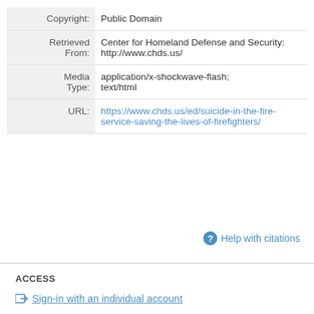| Label | Value |
| --- | --- |
| Copyright: | Public Domain |
| Retrieved From: | Center for Homeland Defense and Security: http://www.chds.us/ |
| Media Type: | application/x-shockwave-flash;
text/html |
| URL: | https://www.chds.us/ed/suicide-in-the-fire-service-saving-the-lives-of-firefighters/ |
Help with citations
ACCESS
Sign-in with an individual account